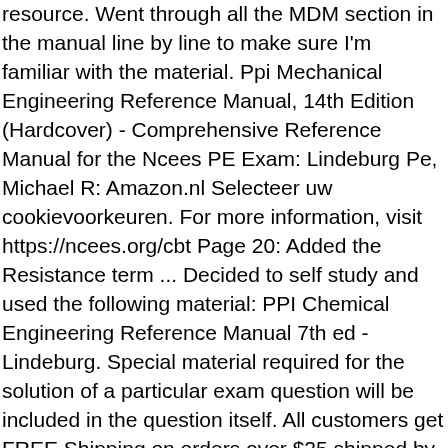resource. Went through all the MDM section in the manual line by line to make sure I'm familiar with the material. Ppi Mechanical Engineering Reference Manual, 14th Edition (Hardcover) - Comprehensive Reference Manual for the Ncees PE Exam: Lindeburg Pe, Michael R: Amazon.nl Selecteer uw cookievoorkeuren. For more information, visit https://ncees.org/cbt Page 20: Added the Resistance term ... Decided to self study and used the following material: PPI Chemical Engineering Reference Manual 7th ed - Lindeburg. Special material required for the solution of a particular exam question will be included in the question itself. All customers get FREE Shipping on orders over $25 shipped by Amazon. The Machine Design & Materials Mechanical PE exam will focus on the following topics as indicated by NCEES. Have you created your account? Free Shipping by Amazon. Søg efter jobs der relaterer sig til Ncees pe chemical reference handbook, eller ansæt på verdens største freelance-markedsplads med 18m+ jobs. You'll need to create an NCEES account to access it. Practice Problems